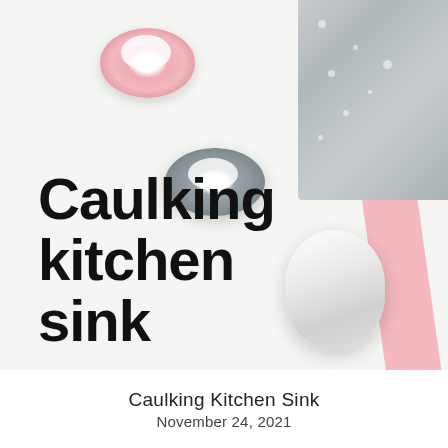[Figure (photo): Overhead photo of three rolls of caulking tape (pink, gray, and white) arranged on a light surface next to a pink strip and stainless steel kitchen sink corner. Bold black text 'Caulking kitchen sink' overlaid in bottom-left of photo.]
Caulking Kitchen Sink
November 24, 2021